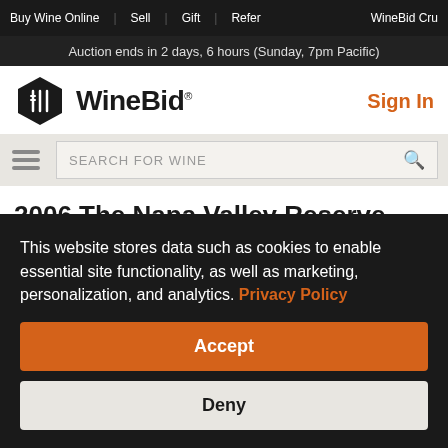Buy Wine Online | Sell | Gift | Refer | WineBid Cru
Auction ends in 2 days, 6 hours (Sunday, 7pm Pacific)
[Figure (logo): WineBid logo with fork/spoon icon in dark hexagon and 'WineBid' wordmark]
Sign In
SEARCH FOR WINE
2006 The Napa Valley Reserve Red
THE AUCTION HAS ENDED FOR THIS ITEM
This website stores data such as cookies to enable essential site functionality, as well as marketing, personalization, and analytics. Privacy Policy
Accept
Deny